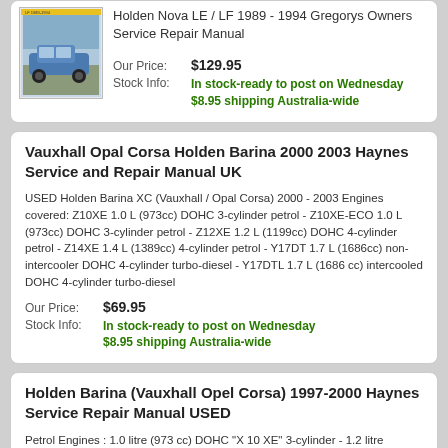[Figure (photo): Book cover thumbnail for Holden Nova LE/LF service manual]
Holden Nova LE / LF 1989 - 1994 Gregorys Owners Service Repair Manual
Our Price: $129.95
Stock Info: In stock-ready to post on Wednesday $8.95 shipping Australia-wide
Vauxhall Opal Corsa Holden Barina 2000 2003 Haynes Service and Repair Manual UK
USED Holden Barina XC (Vauxhall / Opal Corsa) 2000 - 2003 Engines covered: Z10XE 1.0 L (973cc) DOHC 3-cylinder petrol - Z10XE-ECO 1.0 L (973cc) DOHC 3-cylinder petrol - Z12XE 1.2 L (1199cc) DOHC 4-cylinder petrol - Z14XE 1.4 L (1389cc) 4-cylinder petrol - Y17DT 1.7 L (1686cc) non-intercooler DOHC 4-cylinder turbo-diesel - Y17DTL 1.7 L (1686 cc) intercooled DOHC 4-cylinder turbo-diesel
Our Price: $69.95
Stock Info: In stock-ready to post on Wednesday $8.95 shipping Australia-wide
Holden Barina (Vauxhall Opel Corsa) 1997-2000 Haynes Service Repair Manual USED
Petrol Engines : 1.0 litre (973 cc) DOHC "X 10 XE" 3-cylinder - 1.2 litre (1196cc) SOHC "X 12 SZ" 4-cylinder - 1.2 litre (1199cc) DOHC "X 12 XE" 4-cylinder - 1.4 litre (1389cc) SOHC "X 14 SZ"